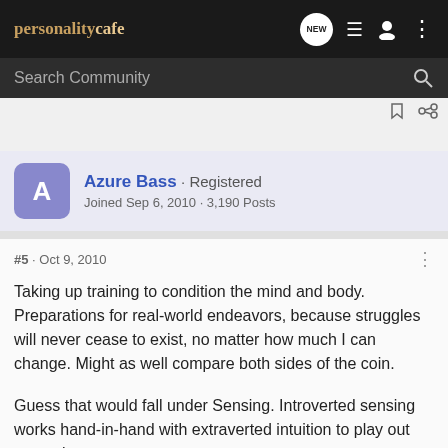personality cafe
Search Community
Azure Bass · Registered
Joined Sep 6, 2010 · 3,190 Posts
#5 · Oct 9, 2010
Taking up training to condition the mind and body. Preparations for real-world endeavors, because struggles will never cease to exist, no matter how much I can change. Might as well compare both sides of the coin.
Guess that would fall under Sensing. Introverted sensing works hand-in-hand with extraverted intuition to play out scenarios a